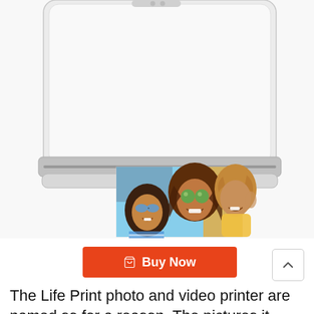[Figure (photo): A white portable photo printer (Life Print) with a printed photo emerging from the bottom slot, showing three smiling young women wearing sunglasses in a sunny outdoor setting.]
Buy Now
The Life Print photo and video printer are named so for a reason. The pictures it prints